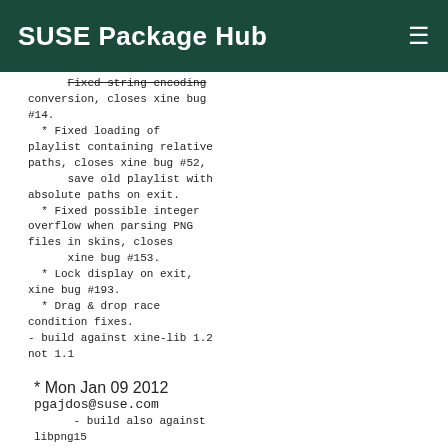SUSE Package Hub
Fixed string encoding conversion, closes xine bug #14.
  * Fixed loading of playlist containing relative paths, closes xine bug #52,
      save old playlist with absolute paths on exit.
  * Fixed possible integer overflow when parsing PNG files in skins, closes
      xine bug #153.
  * Lock display on exit, xine bug #193.
  * Drag & drop race condition fixes.
- build against xine-lib 1.2 not 1.1
* Mon Jan 09 2012 pgajdos@suse.com
    - build also against libpng15
      * libpng15.patch
* Thu Sep 29 2011 lnussel@suse.de
    - add missing -lpthread and -lXext to LDFLAGS
    - fix an (harmless) array overflow
* Thu ...  2011  l...